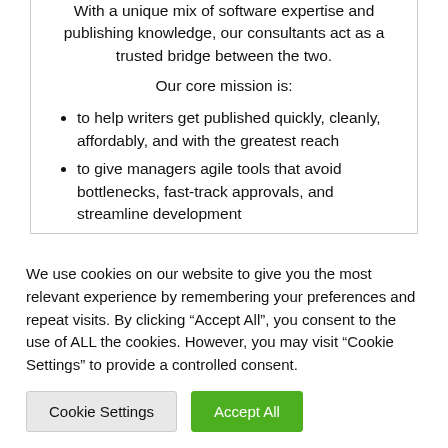With a unique mix of software expertise and publishing knowledge, our consultants act as a trusted bridge between the two.
Our core mission is:
to help writers get published quickly, cleanly, affordably, and with the greatest reach
to give managers agile tools that avoid bottlenecks, fast-track approvals, and streamline development
to create one system for the whole business, speeding up production and giving one version of
We use cookies on our website to give you the most relevant experience by remembering your preferences and repeat visits. By clicking “Accept All”, you consent to the use of ALL the cookies. However, you may visit “Cookie Settings” to provide a controlled consent.